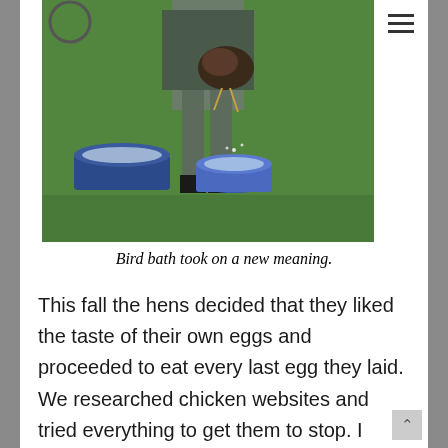[Figure (photo): Person standing on grass holding a chicken over two blue buckets of water]
Bird bath took on a new meaning.
This fall the hens decided that they liked the taste of their own eggs and proceeded to eat every last egg they laid. We researched chicken websites and tried everything to get them to stop. I filled eggs with mustard, put up curtains on the nesting boxes, added oyster shells ... you name it. As a last ditch